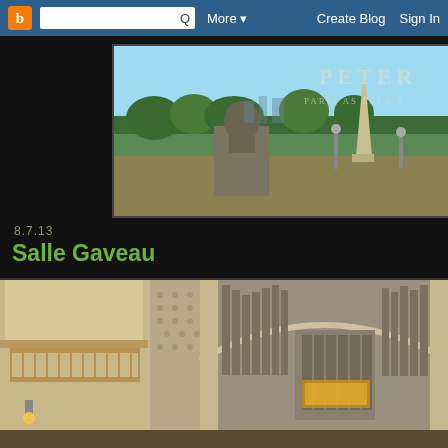B | [search] Q  More ▼  Create Blog  Sign In
[Figure (photo): Blog header banner showing Paris scene with statue, obelisk, and trees under blue sky. Overlaid text reads 'PETER' and 'PARIS AS SEEN B']
8.7.13
Salle Gaveau
[Figure (photo): Interior photograph of Salle Gaveau concert hall showing ornate white architecture with organ pipes, decorative moldings, balconies with ironwork railings, and patterned walls]